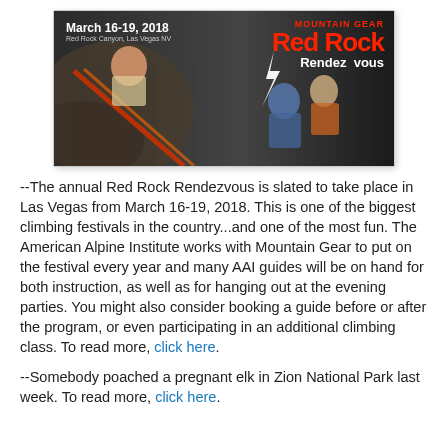[Figure (photo): Event banner for Mountain Gear Red Rock Rendezvous, March 16-19, 2018, Red Rock Canyon, Las Vegas NV. Shows climbers on rocks with red and white text overlay.]
--The annual Red Rock Rendezvous is slated to take place in Las Vegas from March 16-19, 2018. This is one of the biggest climbing festivals in the country...and one of the most fun. The American Alpine Institute works with Mountain Gear to put on the festival every year and many AAI guides will be on hand for both instruction, as well as for hanging out at the evening parties. You might also consider booking a guide before or after the program, or even participating in an additional climbing class. To read more, click here.
--Somebody poached a pregnant elk in Zion National Park last week. To read more, click here.